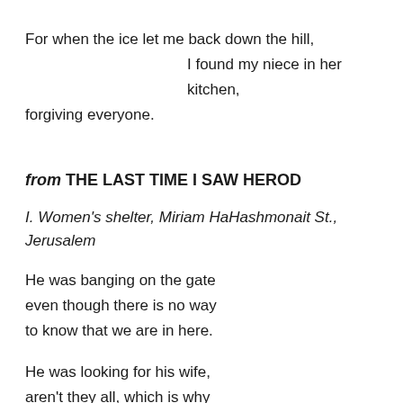For when the ice let me back down the hill,
    I found my niece in her kitchen,
forgiving everyone.
from THE LAST TIME I SAW HEROD
I. Women's shelter, Miriam HaHashmonait St., Jerusalem
He was banging on the gate
even though there is no way
to know that we are in here.
He was looking for his wife,
aren't they all, which is why
we make the children play